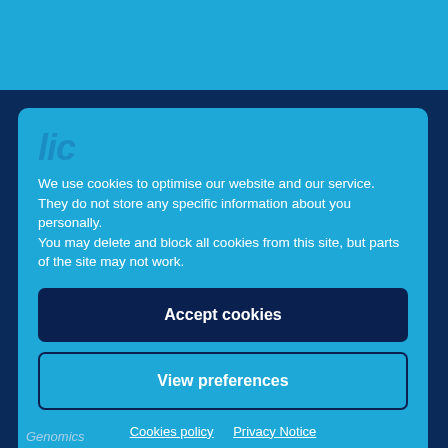We use cookies to optimise our website and our service. They do not store any specific information about you personally.
You may delete and block all cookies from this site, but parts of the site may not work.
Accept cookies
View preferences
Cookies policy   Privacy Notice
Genomics